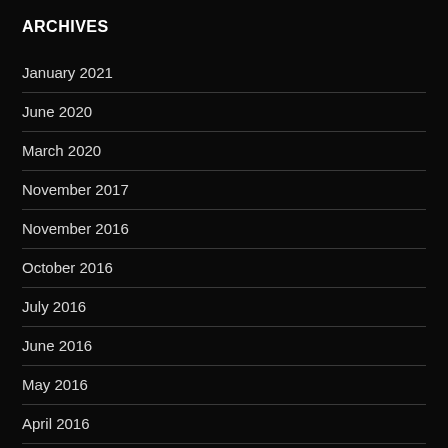ARCHIVES
January 2021
June 2020
March 2020
November 2017
November 2016
October 2016
July 2016
June 2016
May 2016
April 2016
December 2015